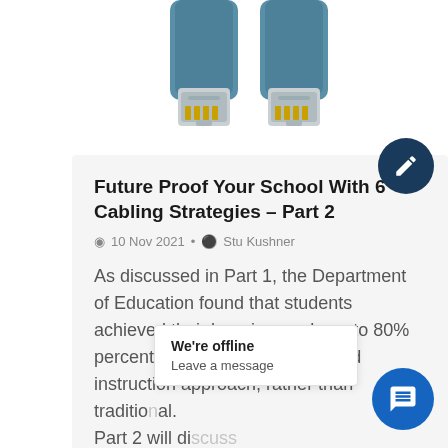[Figure (photo): Two blue Ethernet/RJ45 cable connectors (patch cables) photographed against a white background, shown from the connector end.]
Future Proof Your School With 6 Cabling Strategies – Part 2
10 Nov 2021 • Stu Kushner
As discussed in Part 1, the Department of Education found that students achieved their learning goals up to 80% percent faster using a tech-based instruction approach, rather than traditional. Part 2 will discuss strategies that will help future proof
We're offline
Leave a message